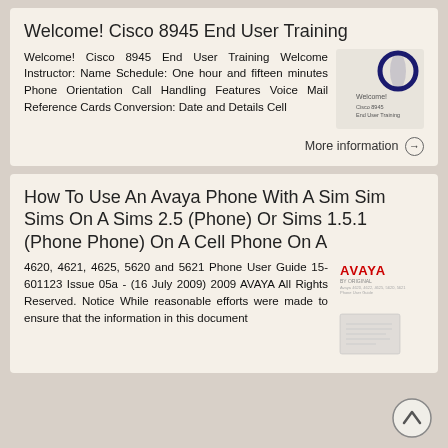Welcome! Cisco 8945 End User Training
Welcome! Cisco 8945 End User Training Welcome Instructor: Name Schedule: One hour and fifteen minutes Phone Orientation Call Handling Features Voice Mail Reference Cards Conversion: Date and Details Cell
[Figure (illustration): Thumbnail image of Cisco 8945 End User Training slide with circular logo and text]
More information →
How To Use An Avaya Phone With A Sim Sim Sims On A Sims 2.5 (Phone) Or Sims 1.5.1 (Phone Phone) On A Cell Phone On A
4620, 4621, 4625, 5620 and 5621 Phone User Guide 15-601123 Issue 05a - (16 July 2009) 2009 AVAYA All Rights Reserved. Notice While reasonable efforts were made to ensure that the information in this document
[Figure (logo): AVAYA logo in red and a document thumbnail]
[Figure (illustration): Scroll-up arrow button circle at bottom right]